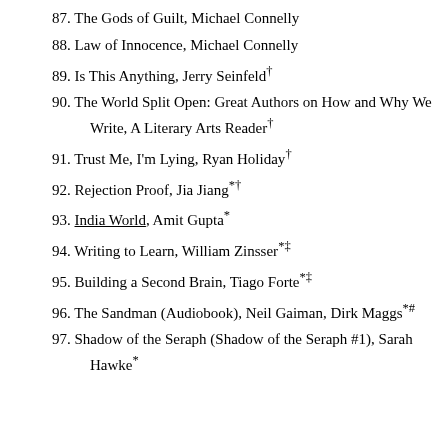87. The Gods of Guilt, Michael Connelly
88. Law of Innocence, Michael Connelly
89. Is This Anything, Jerry Seinfeld†
90. The World Split Open: Great Authors on How and Why We Write, A Literary Arts Reader†
91. Trust Me, I'm Lying, Ryan Holiday†
92. Rejection Proof, Jia Jiang*†
93. India World, Amit Gupta*
94. Writing to Learn, William Zinsser*‡
95. Building a Second Brain, Tiago Forte*‡
96. The Sandman (Audiobook), Neil Gaiman, Dirk Maggs*#
97. Shadow of the Seraph (Shadow of the Seraph #1), Sarah Hawke*